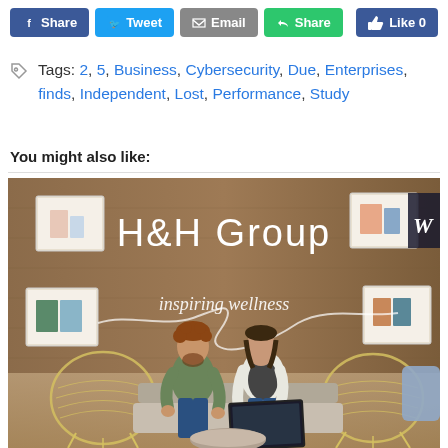[Figure (screenshot): Social sharing buttons: Facebook Share, Tweet, Email, Share (green), and Like 0 (Facebook) buttons in a row]
Tags: 2, 5, Business, Cybersecurity, Due, Enterprises, finds, Independent, Lost, Performance, Study
You might also like:
[Figure (photo): Photo of two people sitting in a lounge area in front of a wooden wall with 'H&H Group' and 'inspiring wellness' text, with decorative shelves and wire chairs]